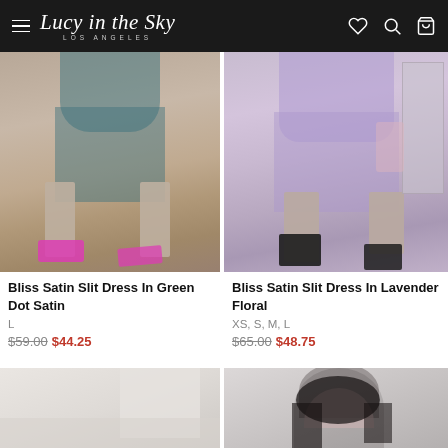Lucy in the Sky - Los Angeles
[Figure (photo): Model wearing green satin slip mini dress with pink heeled sandals, cropped at torso]
Bliss Satin Slit Dress In Green Dot Satin
L
$59.00 $44.25
[Figure (photo): Model wearing lavender floral satin slip mini dress with black ankle boots, posing near a mirror]
Bliss Satin Slit Dress In Lavender Floral
XS, S, M, L
$65.00 $48.75
[Figure (photo): Partial view of a product photo with light background, bottom row left]
[Figure (photo): Partial view of model with dark hair, bottom row right]